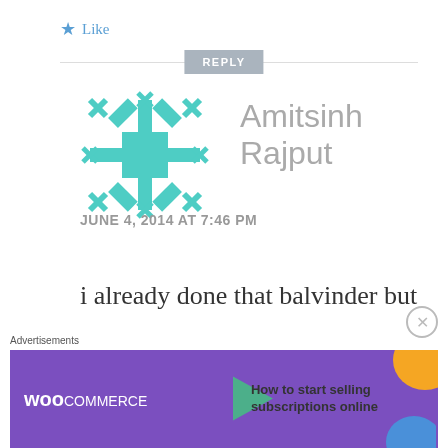★ Like
REPLY
[Figure (illustration): Teal/cyan snowflake-style avatar icon for user Amitsinh Rajput]
Amitsinh Rajput
JUNE 4, 2014 AT 7:46 PM
i already done that balvinder but when i show my mail and get flipkart site then again i show that phone is out of
Advertisements
[Figure (screenshot): WooCommerce advertisement banner: purple background with WooCommerce logo, green arrow, text 'How to start selling subscriptions online', orange and blue decorative shapes]